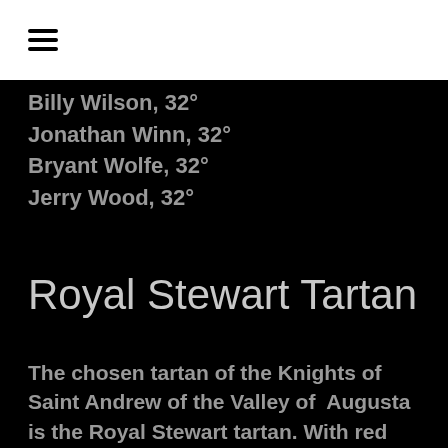☰
Billy Wilson, 32°
Jonathan Winn, 32°
Bryant Wolfe, 32°
Jerry Wood, 32°
Royal Stewart Tartan
The chosen tartan of the Knights of Saint Andrew of the Valley of  Augusta is the Royal Stewart tartan. With red being the prominent color,  it is one of the most luxurious tartans and is